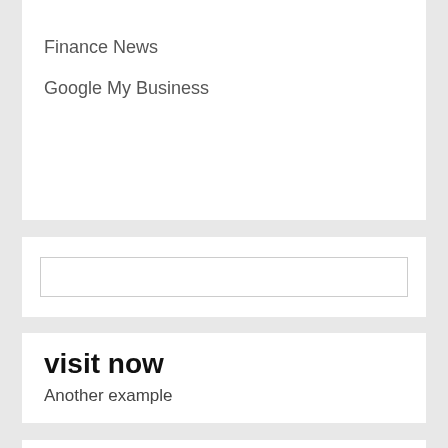Finance News
Google My Business
[Figure (other): Empty search input box]
visit now
Another example
[Figure (logo): Intellifluence Trusted Blogger badge — circular blue badge with yellow ribbon banner reading BLOGGER]